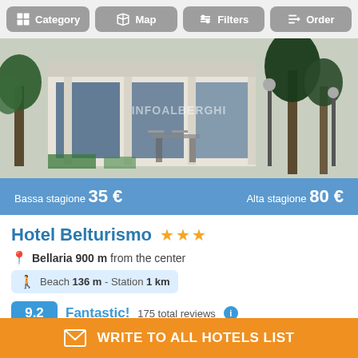Category | Map | Filters | Order
[Figure (photo): Hotel exterior photo showing entrance with plants, trees, and outdoor seating area. Watermark text 'INFOALBERGHI' visible.]
Bassa stagione 35 € | Alta stagione 80 €
Hotel Belturismo ★★★
Bellaria 900 m from the center
Beach 136 m - Station 1 km
9.2 Fantastic! 175 total reviews
a stone's throw from the sea
WRITE TO ALL HOTELS LIST